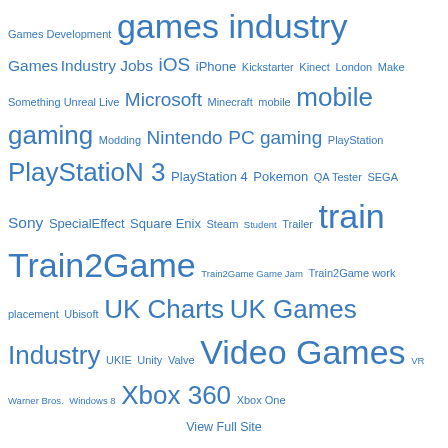Games Development games industry Games Industry Jobs iOS iPhone Kickstarter Kinect London Make Something Unreal Live Microsoft Minecraft mobile mobile gaming Modding Nintendo PC gaming PlayStation PlayStatioN 3 PlayStation 4 Pokemon QA Tester SEGA Sony SpecialEffect Square Enix Steam Student Trailer train Train2Game Train2Game Game Jam Train2Game work placement Ubisoft UK Charts UK Games Industry UKIE Unity Valve Video Games VR Warner Bros. Windows 8 Xbox 360 Xbox One
View Full Site